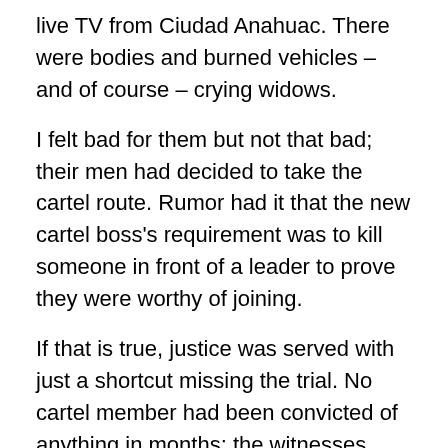live TV from Ciudad Anahuac. There were bodies and burned vehicles – and of course – crying widows.
I felt bad for them but not that bad; their men had decided to take the cartel route. Rumor had it that the new cartel boss's requirement was to kill someone in front of a leader to prove they were worthy of joining.
If that is true, justice was served with just a shortcut missing the trial. No cartel member had been convicted of anything in months; the witnesses never lived long enough to testify, no matter how the prosecutor tried to protect them.
When they settled into the national news I was shocked.
“Now to Congressional reporter Tracy Cox with breaking news. Tracy, what do you have?” the host asked.